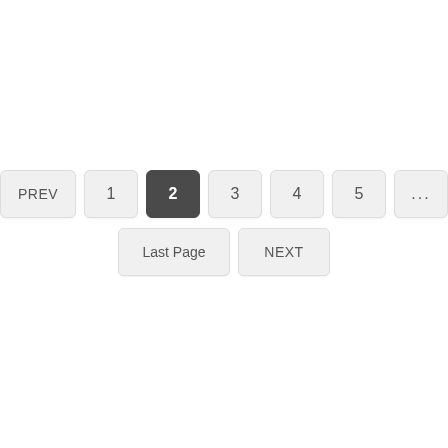[Figure (other): Pagination UI component showing PREV button, page number buttons (1, 2 active/highlighted, 3, 4, 5, ...), and a second row with Last Page and NEXT buttons.]